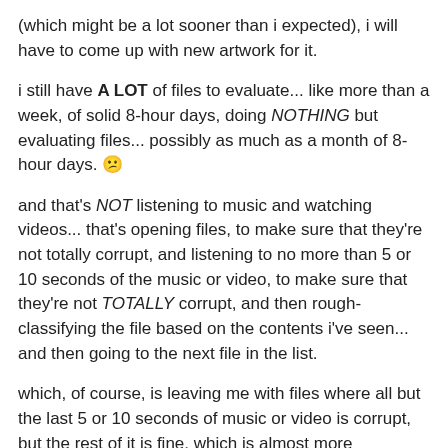(which might be a lot sooner than i expected), i will have to come up with new artwork for it.
i still have A LOT of files to evaluate... like more than a week, of solid 8-hour days, doing NOTHING but evaluating files... possibly as much as a month of 8-hour days. 😑
and that's NOT listening to music and watching videos... that's opening files, to make sure that they're not totally corrupt, and listening to no more than 5 or 10 seconds of the music or video, to make sure that they're not TOTALLY corrupt, and then rough-classifying the file based on the contents i've seen... and then going to the next file in the list.
which, of course, is leaving me with files where all but the last 5 or 10 seconds of music or video is corrupt, but the rest of it is fine, which is almost more frustratingly irritating than if the entire file was corrupt. 😡😡